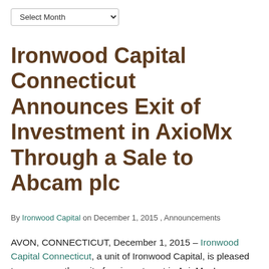Ironwood Capital Connecticut Announces Exit of Investment in AxioMx Through a Sale to Abcam plc
By Ironwood Capital on December 1, 2015 , Announcements
AVON, CONNECTICUT, December 1, 2015 – Ironwood Capital Connecticut, a unit of Ironwood Capital, is pleased to announce the exit of an investment in AxioMx, Inc. through a